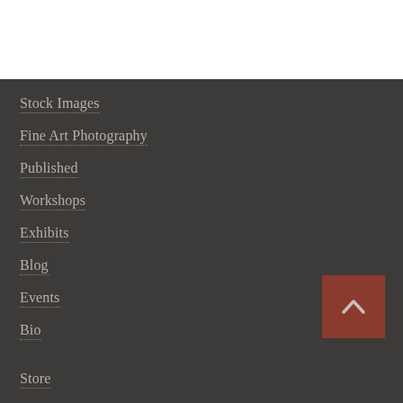Stock Images
Fine Art Photography
Published
Workshops
Exhibits
Blog
Events
Bio
Store
[Figure (other): Back to top button with upward chevron arrow on dark red/brown square background]